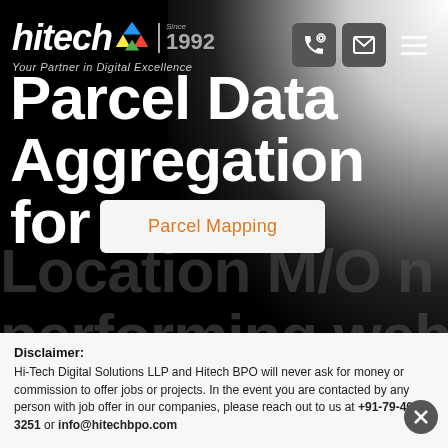[Figure (logo): Hitech logo with colorful recycling-style icon, tagline 'Your Partner in Digital Excellence | Since 1992']
[Figure (infographic): Navigation icons: phone, email, and hamburger menu buttons on dark header]
Parcel Mapping
Parcel Data Aggregation for A
Disclaimer: Hi-Tech Digital Solutions LLP and Hitech BPO will never ask for money or commission to offer jobs or projects. In the event you are contacted by any person with job offer in our companies, please reach out to us at +91-79-4000-3251 or info@hitechbpo.com